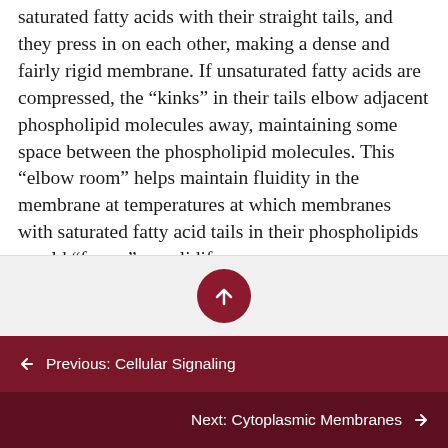saturated fatty acids with their straight tails, and they press in on each other, making a dense and fairly rigid membrane. If unsaturated fatty acids are compressed, the “kinks” in their tails elbow adjacent phospholipid molecules away, maintaining some space between the phospholipid molecules. This “elbow room” helps maintain fluidity in the membrane at temperatures at which membranes with saturated fatty acid tails in their phospholipids would “freeze” or solidify.
[Figure (other): A gray navigation scroll-to-top box with a dark red circular up-arrow button in the center]
Previous: Cellular Signaling
Next: Cytoplasmic Membranes